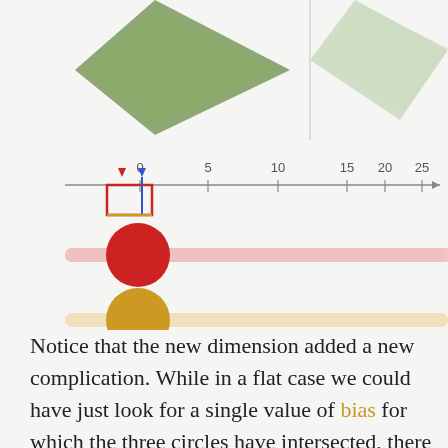[Figure (infographic): A number line from 0 to 25+ with tick marks. Above it are two green diamond/rhombus shapes (one darker on left, one lighter on right). Below the number line are three horizontal slider-style elements: a red circle on the left with a pink horizontal bar, a gold/yellow circle on the left with a light orange horizontal bar, and a dark gray circle in the middle of a gray horizontal bar. Near the number line there is a small red downward triangle marker and a blue downward triangle marker near 0, and a small red square/rectangle outline near the left.]
Notice that the new dimension added a new complication. While in a flat case we could have just look for a single value of bias for which the three circles have intersected, there are a lot of different values of bias for which the three